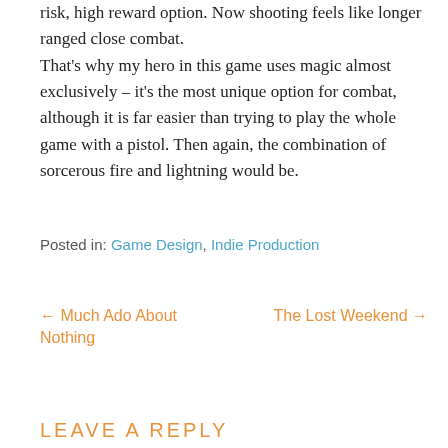risk, high reward option. Now shooting feels like longer ranged close combat.
That's why my hero in this game uses magic almost exclusively – it's the most unique option for combat, although it is far easier than trying to play the whole game with a pistol. Then again, the combination of sorcerous fire and lightning would be.
Posted in: Game Design, Indie Production
← Much Ado About Nothing
The Lost Weekend →
LEAVE A REPLY